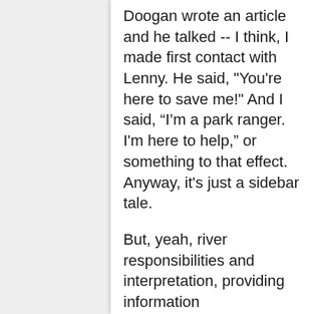Doogan wrote an article and he talked -- I think, I made first contact with Lenny. He said, "You're here to save me!" And I said, “I’m a park ranger. I'm here to help," or something to that effect. Anyway, it's just a sidebar tale.
But, yeah, river responsibilities and interpretation, providing information